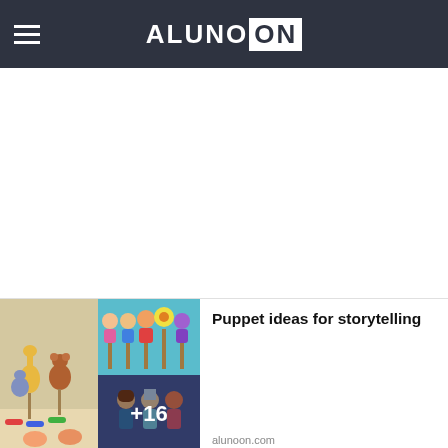ALUNO ON
[Figure (photo): Collage of puppet craft images for storytelling - paper animal puppets, colorful stick puppets, and character puppets with +16 overlay]
Puppet ideas for storytelling
alunoon.com
[Figure (photo): Collage of artistic craft images for kids - hands doing crafts and colorful decorations]
The best artistic crafts for kids